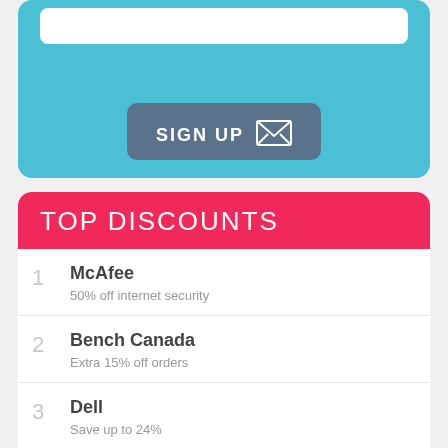[Figure (infographic): Sign up button with envelope icon on teal/blue background with white input bar]
TOP DISCOUNTS
1 McAfee — 50% off internet security
2 Bench Canada — Extra 15% off orders
3 Dell — Save up to 24%
4 Expedia